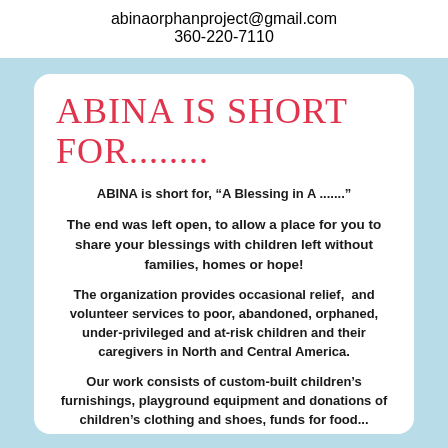abinaorphanproject@gmail.com
360-220-7110
ABINA IS SHORT FOR........
ABINA is short for, “A Blessing in A .......”
The end was left open, to allow a place for you to share your blessings with children left without families, homes or hope!
The organization provides occasional relief,  and volunteer services to poor, abandoned, orphaned, under-privileged and at-risk children and their caregivers in North and Central America.
Our work consists of custom-built children’s furnishings, playground equipment and donations of children’s clothing and shoes, funds for food...